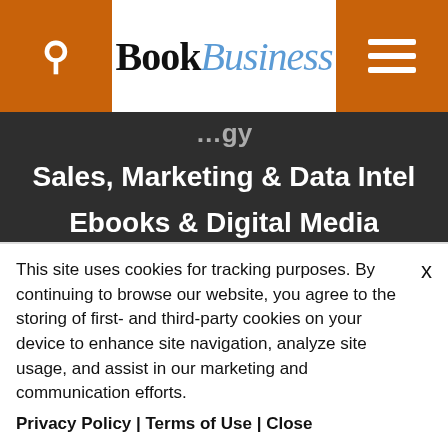BookBusiness
Sales, Marketing & Data Intel
Ebooks & Digital Media
Printing & Manufacturing
Blogs
Resources
About Us
Advertising Info
This site uses cookies for tracking purposes. By continuing to browse our website, you agree to the storing of first- and third-party cookies on your device to enhance site navigation, analyze site usage, and assist in our marketing and communication efforts. Privacy Policy | Terms of Use | Close